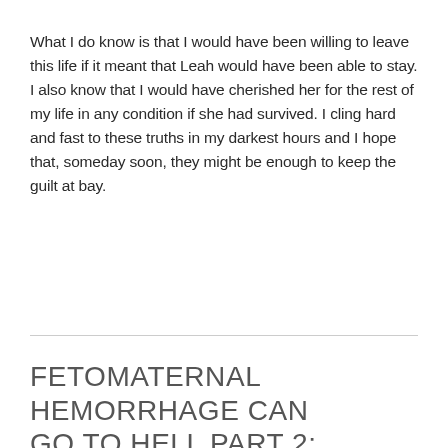What I do know is that I would have been willing to leave this life if it meant that Leah would have been able to stay. I also know that I would have cherished her for the rest of my life in any condition if she had survived. I cling hard and fast to these truths in my darkest hours and I hope that, someday soon, they might be enough to keep the guilt at bay.
FETOMATERNAL HEMORRHAGE CAN GO TO HELL PART 2: INNOCENCE